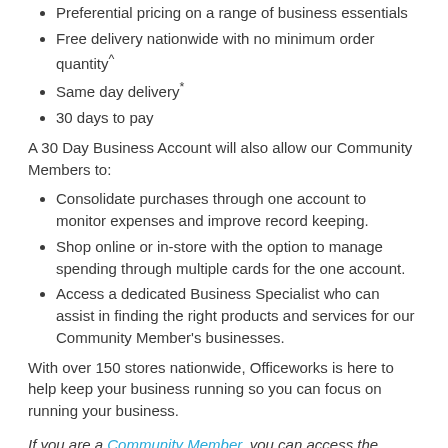Preferential pricing on a range of business essentials
Free delivery nationwide with no minimum order quantity^
Same day delivery*
30 days to pay
A 30 Day Business Account will also allow our Community Members to:
Consolidate purchases through one account to monitor expenses and improve record keeping.
Shop online or in-store with the option to manage spending through multiple cards for the one account.
Access a dedicated Business Specialist who can assist in finding the right products and services for our Community Member's businesses.
With over 150 stores nationwide, Officeworks is here to help keep your business running so you can focus on running your business.
If you are a Community Member, you can access the Officeworks offer now in the Member's Hub. Not a member?